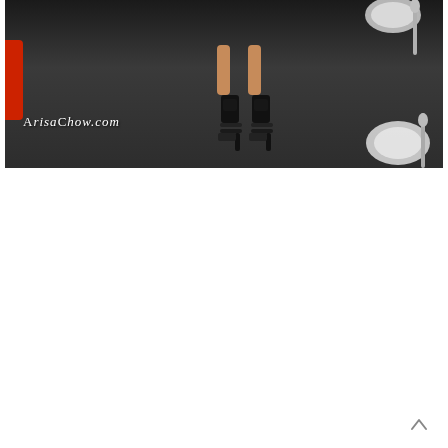[Figure (photo): Dark-toned photo showing someone's feet wearing black high-heel shoes/sandals standing on a dark floor, with tableware (plates, spoons) visible at the right edge. A watermark 'ArisaChow.com' appears in white italic text in the lower-left of the image.]